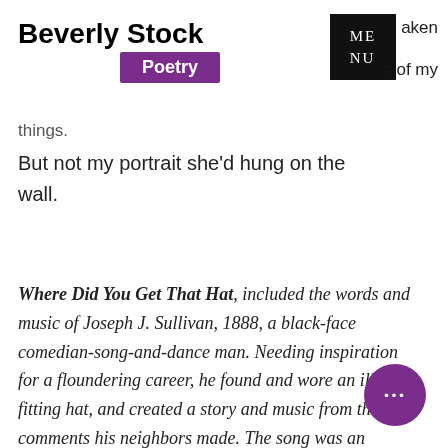Beverly Stock
Poetry
ME NU
aken
: of my
things.
But not my portrait she'd hung on the wall.
Where Did You Get That Hat, included the words and music of Joseph J. Sullivan, 1888, a black-face comedian-song-and-dance man. Needing inspiration for a floundering career, he found and wore an ill-fitting hat, and created a story and music from the odd comments his neighbors made. The song was an instant hit and became a standard of humor.